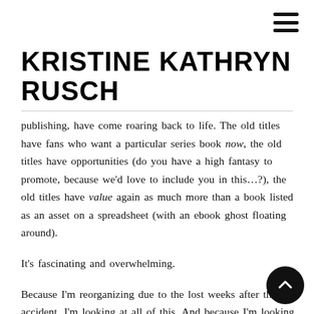≡ (menu icon)
KRISTINE KATHRYN RUSCH
publishing, have come roaring back to life. The old titles have fans who want a particular series book now, the old titles have opportunities (do you have a high fantasy to promote, because we'd love to include you in this…?), the old titles have value again as much more than a book listed as an asset on a spreadsheet (with an ebook ghost floating around).
It's fascinating and overwhelming.
Because I'm reorganizing due to the lost weeks after the accident, I'm looking at all of this. And because I'm looking at…